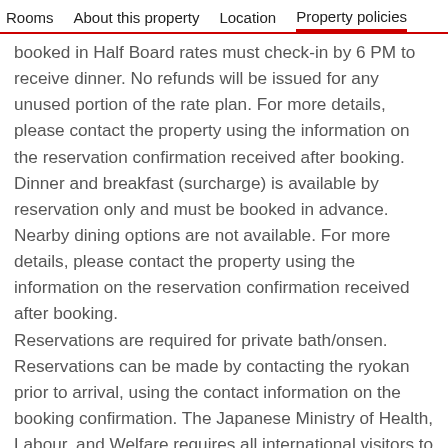Rooms   About this property   Location   Property policies
booked in Half Board rates must check-in by 6 PM to receive dinner. No refunds will be issued for any unused portion of the rate plan. For more details, please contact the property using the information on the reservation confirmation received after booking. Dinner and breakfast (surcharge) is available by reservation only and must be booked in advance. Nearby dining options are not available. For more details, please contact the property using the information on the reservation confirmation received after booking.
Reservations are required for private bath/onsen. Reservations can be made by contacting the ryokan prior to arrival, using the contact information on the booking confirmation. The Japanese Ministry of Health, Labour, and Welfare requires all international visitors to submit